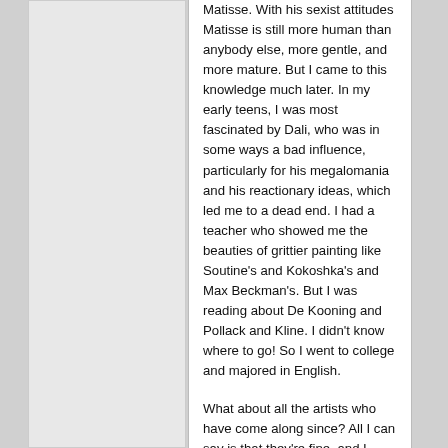Matisse. With his sexist attitudes Matisse is still more human than anybody else, more gentle, and more mature. But I came to this knowledge much later. In my early teens, I was most fascinated by Dali, who was in some ways a bad influence, particularly for his megalomania and his reactionary ideas, which led me to a dead end. I had a teacher who showed me the beauties of grittier painting like Soutine's and Kokoshka's and Max Beckman's. But I was reading about De Kooning and Pollack and Kline. I didn't know where to go! So I went to college and majored in English.
What about all the artists who have come along since? All I can say is that they're fine, and I would be sorry if we didn't have Motherwell or Tapies or many others, so many that it would be meaningless or it would be a whole page of names, and some of